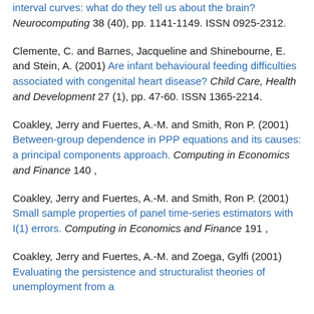interval curves: what do they tell us about the brain? Neurocomputing 38 (40), pp. 1141-1149. ISSN 0925-2312.
Clemente, C. and Barnes, Jacqueline and Shinebourne, E. and Stein, A. (2001) Are infant behavioural feeding difficulties associated with congenital heart disease? Child Care, Health and Development 27 (1), pp. 47-60. ISSN 1365-2214.
Coakley, Jerry and Fuertes, A.-M. and Smith, Ron P. (2001) Between-group dependence in PPP equations and its causes: a principal components approach. Computing in Economics and Finance 140 ,
Coakley, Jerry and Fuertes, A.-M. and Smith, Ron P. (2001) Small sample properties of panel time-series estimators with I(1) errors. Computing in Economics and Finance 191 ,
Coakley, Jerry and Fuertes, A.-M. and Zoega, Gylfi (2001) Evaluating the persistence and structuralist theories of unemployment from a